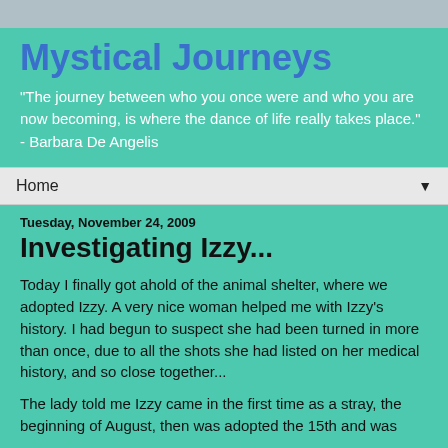Mystical Journeys
"The journey between who you once were and who you are now becoming, is where the dance of life really takes place." - Barbara De Angelis
Home ▼
Tuesday, November 24, 2009
Investigating Izzy...
Today I finally got ahold of the animal shelter, where we adopted Izzy.  A very nice woman helped me with Izzy's history.  I had begun to suspect she had been turned in more than once, due to all the shots she had listed on her medical history, and so close together...
The lady told me Izzy came in the first time as a stray, the beginning of August, then was adopted the 15th and was